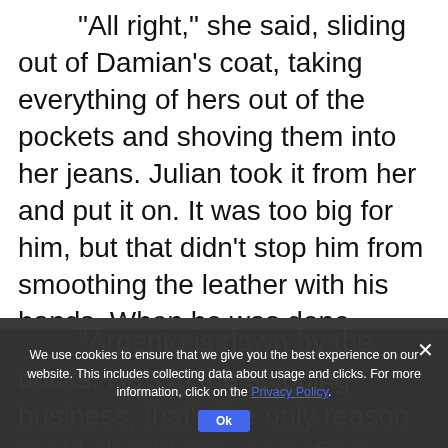"All right," she said, sliding out of Damian’s coat, taking everything of hers out of the pockets and shoving them into her jeans. Julian took it from her and put it on. It was too big for him, but that didn’t stop him from smoothing the leather with his hands. When he was done appraising it, he nodded.
“Argento is down by the docks. He’s in the shipping business, that’s the only reason you’d should stay away from him; you cross him, they
We use cookies to ensure that we give you the best experience on our website. This includes collecting data about usage and clicks. For more information, click on the Privacy Policy.